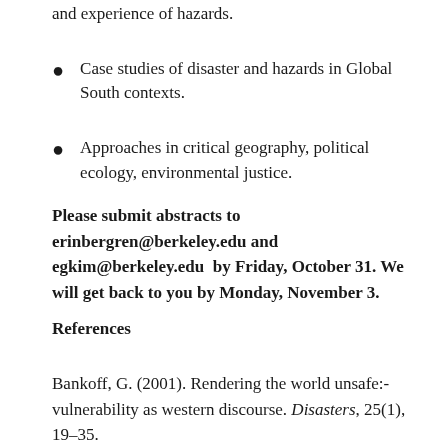and experience of hazards.
Case studies of disaster and hazards in Global South contexts.
Approaches in critical geography, political ecology, environmental justice.
Please submit abstracts to erinbergren@berkeley.edu and egkim@berkeley.edu  by Friday, October 31. We will get back to you by Monday, November 3.
References
Bankoff, G. (2001). Rendering the world unsafe: vulnerability as western discourse. Disasters, 25(1), 19–35.